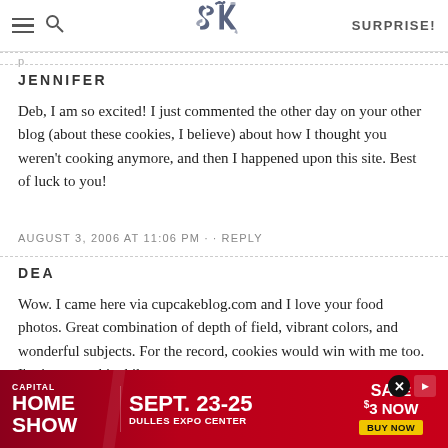SK — SURPRISE!
JENNIFER
Deb, I am so excited! I just commented the other day on your other blog (about these cookies, I believe) about how I thought you weren't cooking anymore, and then I happened upon this site. Best of luck to you!
AUGUST 3, 2006 AT 11:06 PM -- REPLY
DEA
Wow. I came here via cupcakeblog.com and I love your food photos. Great combination of depth of field, vibrant colors, and wonderful subjects. For the record, cookies would win with me too. I'm just a cookiephile.
SEPTEM...
[Figure (screenshot): Capital Home Show advertisement banner: CAPITAL HOME SHOW, SEPT. 23-25, DULLES EXPO CENTER, SAVE $3 NOW, BUY NOW]